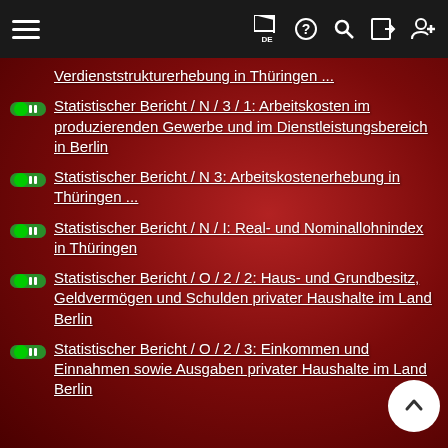Navigation bar with menu, flag/DE, help, search, login, and user icons
Verdienststrukturerhebung in Thüringen ...
Statistischer Bericht / N / 3 / 1: Arbeitskosten im produzierenden Gewerbe und im Dienstleistungsbereich in Berlin
Statistischer Bericht / N 3: Arbeitskostenerhebung in Thüringen ...
Statistischer Bericht / N / I: Real- und Nominallohnindex in Thüringen
Statistischer Bericht / O / 2 / 2: Haus- und Grundbesitz, Geldvermögen und Schulden privater Haushalte im Land Berlin
Statistischer Bericht / O / 2 / 3: Einkommen und Einnahmen sowie Ausgaben privater Haushalte im Land Berlin